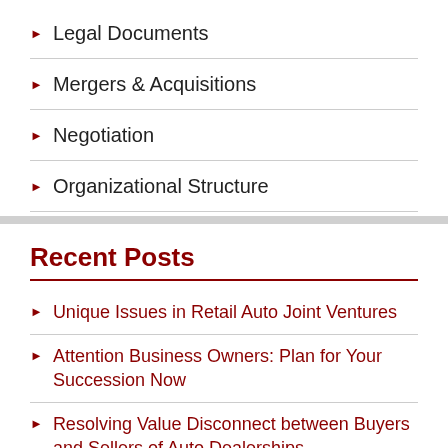Legal Documents
Mergers & Acquisitions
Negotiation
Organizational Structure
Recent Posts
Unique Issues in Retail Auto Joint Ventures
Attention Business Owners: Plan for Your Succession Now
Resolving Value Disconnect between Buyers and Sellers of Auto Dealerships
2017 in Review: Trends in Retail Auto Mergers and Acquisitions